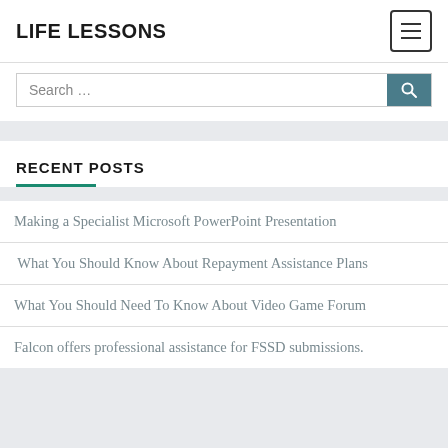LIFE LESSONS
Search …
RECENT POSTS
Making a Specialist Microsoft PowerPoint Presentation
What You Should Know About Repayment Assistance Plans
What You Should Need To Know About Video Game Forum
Falcon offers professional assistance for FSSD submissions.